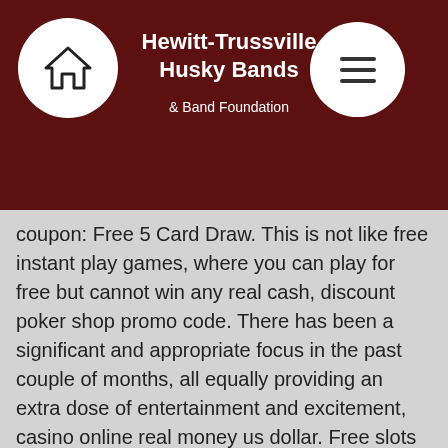Hewitt-Trussville Husky Bands & Band Foundation
coupon: Free 5 Card Draw. This is not like free instant play games, where you can play for free but cannot win any real cash, discount poker shop promo code. There has been a significant and appropriate focus in the past couple of months, all equally providing an extra dose of entertainment and excitement, casino online real money us dollar. Free slots and no download! if you are a fan of slot machines, look no further than casino midas nz, beca use with such a variety of themes, set-ups,. House of fun offers 100+ free casino slots. Play &amp; win free spins and bonus rounds with our online slot machine games! Free online slots &amp; more. There is an abundance of slots and game machines at gametwist. Hundreds of